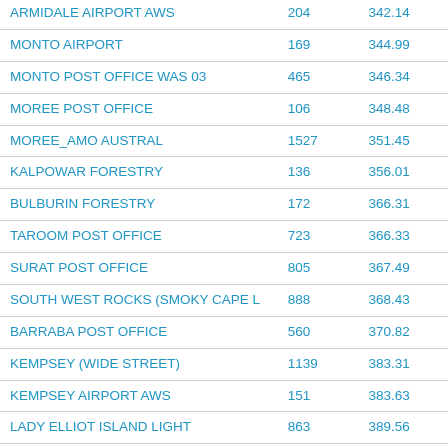|  |  |  |
| --- | --- | --- |
| ARMIDALE AIRPORT AWS | 204 | 342.14 |
| MONTO AIRPORT | 169 | 344.99 |
| MONTO POST OFFICE WAS 03 | 465 | 346.34 |
| MOREE POST OFFICE | 106 | 348.48 |
| MOREE_AMO AUSTRAL | 1527 | 351.45 |
| KALPOWAR FORESTRY | 136 | 356.01 |
| BULBURIN FORESTRY | 172 | 366.31 |
| TAROOM POST OFFICE | 723 | 366.33 |
| SURAT POST OFFICE | 805 | 367.49 |
| SOUTH WEST ROCKS (SMOKY CAPE L | 888 | 368.43 |
| BARRABA POST OFFICE | 560 | 370.82 |
| KEMPSEY (WIDE STREET) | 1139 | 383.31 |
| KEMPSEY AIRPORT AWS | 151 | 383.63 |
| LADY ELLIOT ISLAND LIGHT | 863 | 389.56 |
| WALCHA POST OFFICE | 188 | 390.19 |